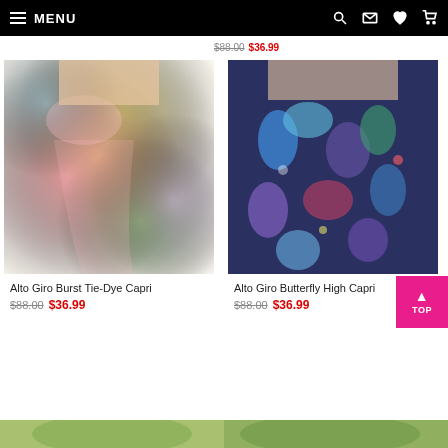MENU
$88.00  $36.99
[Figure (photo): Alto Giro Burst Tie-Dye Capri leggings — colorful tie-dye pattern in pink, yellow-green, teal, lavender on model]
Alto Giro Burst Tie-Dye Capri
$88.00  $36.99
[Figure (photo): Alto Giro Butterfly High Capri leggings — dark navy background with colorful butterfly and moth print on model]
Alto Giro Butterfly High Capri
$88.00  $36.99